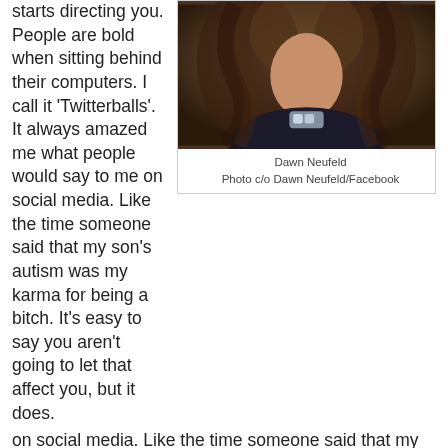starts directing you. People are bold when sitting behind their computers. I call it 'Twitterballs'. It always amazed me what people would say to me on social media. Like the time someone said that my son's autism was my karma for being a bitch. It's easy to say you aren't going to let that affect you, but it does.
[Figure (photo): Portrait photo of Dawn Neufeld with curly dark hair and a sparkly necklace]
Dawn Neufeld
Photo c/o Dawn Neufeld/Facebook
It was also amazing to see ratings were. We consistently had about a million viewers each week and it wasn't enough for a second season. That was tough." So, knowing what she knows now... would she put herself through the reality TV spotlight again?  "Absolutely, I'd do it all over again. So much good came out of Football Wives," Neufeld laughs. "For every asshole on Twitter who said something awful, there were moms who decided to get their kiddos evaluated for autism because they recognized some of Will's issues in their own kids. Being able to use my platform that Football